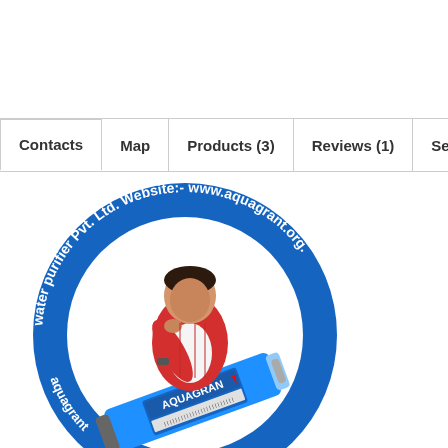[Figure (logo): Aquagrant water purifier Pvt. Ltd. circular logo with blue background. Text around the circle reads 'water purifier Pvt. Ltd. Website:- www.aquagrant.org. aquagrant' with a man in red shirt leaning over an Aquagrant branded blue water filter membrane/cartridge in the center.]